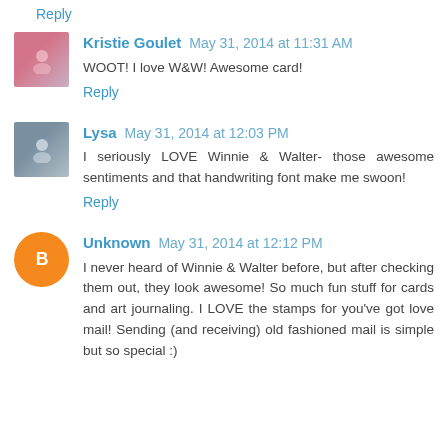Reply
Kristie Goulet  May 31, 2014 at 11:31 AM
WOOT! I love W&W! Awesome card!
Reply
Lysa  May 31, 2014 at 12:03 PM
I seriously LOVE Winnie & Walter- those awesome sentiments and that handwriting font make me swoon!
Reply
Unknown  May 31, 2014 at 12:12 PM
I never heard of Winnie & Walter before, but after checking them out, they look awesome! So much fun stuff for cards and art journaling. I LOVE the stamps for you've got love mail! Sending (and receiving) old fashioned mail is simple but so special :)